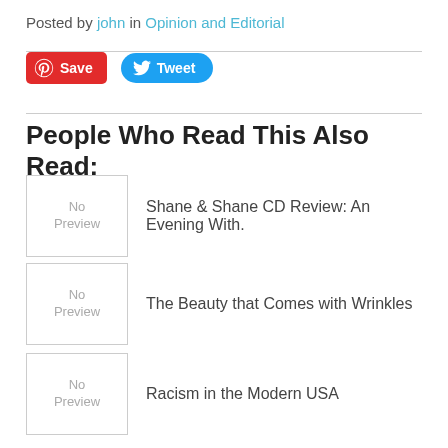Posted by john in Opinion and Editorial
[Figure (other): Pinterest Save button and Twitter Tweet button]
People Who Read This Also Read:
[Figure (other): No Preview thumbnail]
Shane & Shane CD Review: An Evening With.
[Figure (other): No Preview thumbnail]
The Beauty that Comes with Wrinkles
[Figure (other): No Preview thumbnail]
Racism in the Modern USA